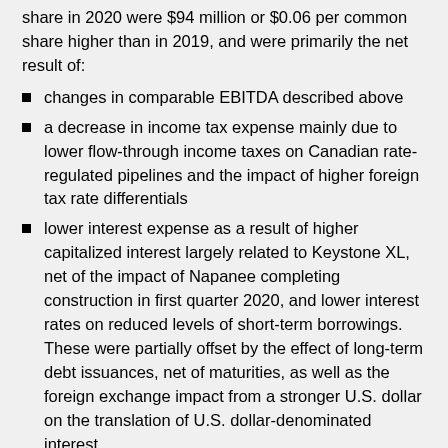share in 2020 were $94 million or $0.06 per common share higher than in 2019, and were primarily the net result of:
changes in comparable EBITDA described above
a decrease in income tax expense mainly due to lower flow-through income taxes on Canadian rate-regulated pipelines and the impact of higher foreign tax rate differentials
lower interest expense as a result of higher capitalized interest largely related to Keystone XL, net of the impact of Napanee completing construction in first quarter 2020, and lower interest rates on reduced levels of short-term borrowings. These were partially offset by the effect of long-term debt issuances, net of maturities, as well as the foreign exchange impact from a stronger U.S. dollar on the translation of U.S. dollar-denominated interest
a decrease in AFUDC predominantly due to NGTL System expansions placed in service and the